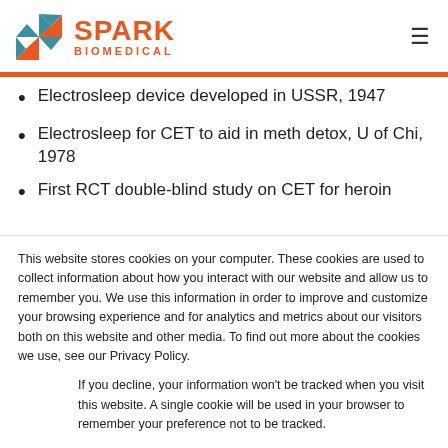[Figure (logo): Spark Biomedical logo with geometric icon and orange text]
Electrosleep device developed in USSR, 1947
Electrosleep for CET to aid in meth detox, U of Chi, 1978
First RCT double-blind study on CET for heroin
This website stores cookies on your computer. These cookies are used to collect information about how you interact with our website and allow us to remember you. We use this information in order to improve and customize your browsing experience and for analytics and metrics about our visitors both on this website and other media. To find out more about the cookies we use, see our Privacy Policy.
If you decline, your information won’t be tracked when you visit this website. A single cookie will be used in your browser to remember your preference not to be tracked.